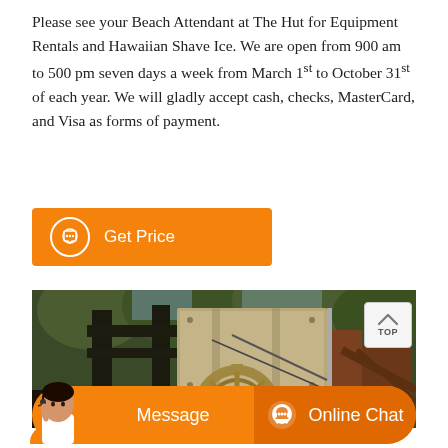Please see your Beach Attendant at The Hut for Equipment Rentals and Hawaiian Shave Ice. We are open from 900 am to 500 pm seven days a week from March 1st to October 31st of each year. We will gladly accept cash, checks, MasterCard, and Visa as forms of payment.
[Figure (other): Orange button with chat icon and text 'Get Price']
[Figure (photo): Photograph of industrial mining or construction equipment — large gears, conveyor structures, metal framework, surrounded by trees]
[Figure (other): Orange bottom bar with a person avatar on the left, 'Message' text in center-left, and 'Online Chat' button on the right with headset icon]